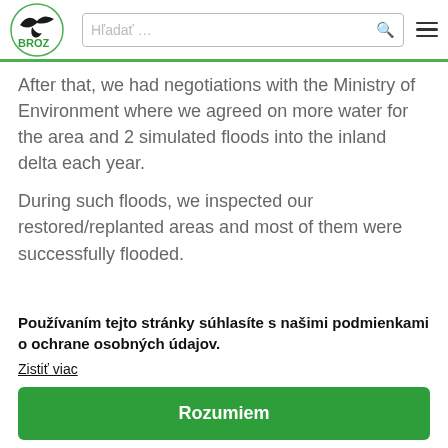BROZ - Bratislavská regionálna ochranárska asociácia [logo + search bar + hamburger menu]
After that, we had negotiations with the Ministry of Environment where we agreed on more water for the area and 2 simulated floods into the inland delta each year.
During such floods, we inspected our restored/replanted areas and most of them were successfully flooded.
Používaním tejto stránky súhlasíte s našimi podmienkami o ochrane osobných údajov.
Zistiť viac
Rozumiem